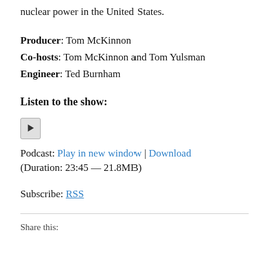nuclear power in the United States.
Producer: Tom McKinnon
Co-hosts: Tom McKinnon and Tom Yulsman
Engineer: Ted Burnham
Listen to the show:
[Figure (other): Audio player play button icon]
Podcast: Play in new window | Download
(Duration: 23:45 — 21.8MB)
Subscribe: RSS
Share this: